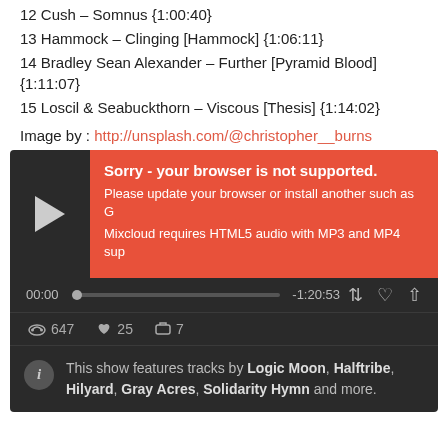12 Cush – Somnus {1:00:40}
13 Hammock – Clinging [Hammock] {1:06:11}
14 Bradley Sean Alexander – Further [Pyramid Blood] {1:11:07}
15 Loscil & Seabuckthorn – Viscous [Thesis] {1:14:02}
Image by : http://unsplash.com/@christopher__burns
[Figure (screenshot): Mixcloud embedded audio player with dark background showing a play button, error overlay saying 'Sorry - your browser is not supported. Please update your browser or install another such as G... Mixcloud requires HTML5 audio with MP3 and MP4 sup...', progress bar showing 00:00 and -1:20:53, stats showing 647 plays, 25 likes, 7 reposts, and info text: 'This show features tracks by Logic Moon, Halftribe, Hilyard, Gray Acres, Solidarity Hymn and more.']